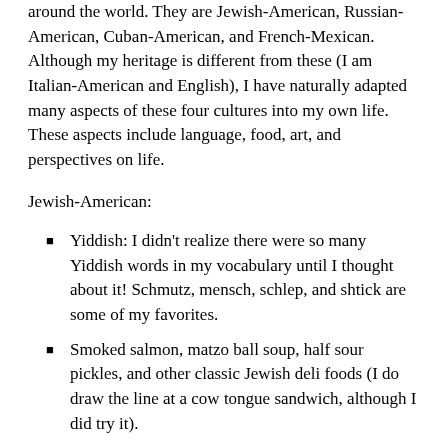around the world. They are Jewish-American, Russian-American, Cuban-American, and French-Mexican. Although my heritage is different from these (I am Italian-American and English), I have naturally adapted many aspects of these four cultures into my own life. These aspects include language, food, art, and perspectives on life.
Jewish-American:
Yiddish: I didn't realize there were so many Yiddish words in my vocabulary until I thought about it! Schmutz, mensch, schlep, and shtick are some of my favorites.
Smoked salmon, matzo ball soup, half sour pickles, and other classic Jewish deli foods (I do draw the line at a cow tongue sandwich, although I did try it).
Self-deprecating humor: Jerry Seinfeld, Sid Caesar, and Billy Crystal are some of my favorite comedians. I even wrote a college paper on the history Jewish